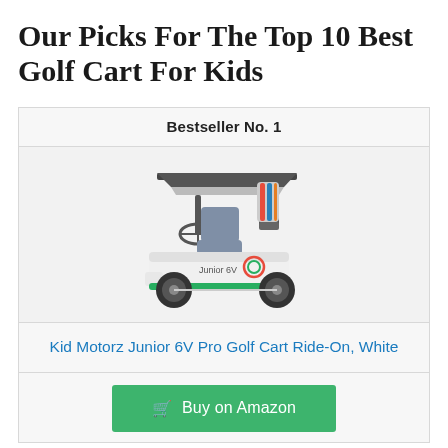Our Picks For The Top 10 Best Golf Cart For Kids
Bestseller No. 1
[Figure (photo): Kid Motorz Junior 6V Pro Golf Cart Ride-On toy in white color, a small electric golf cart for children with a canopy, golf bag holder, and four wheels]
Kid Motorz Junior 6V Pro Golf Cart Ride-On, White
Buy on Amazon